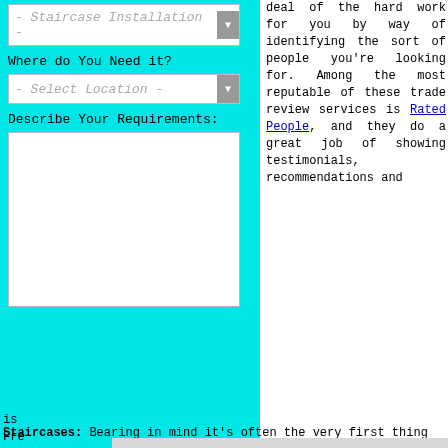[Figure (screenshot): Web form with cyan/turquoise background showing dropdown for Staircase Installation, dropdown for Select Location, and text area for Requirements]
deal of the hard work for you by way of identifying the sort of people you're looking for. Among the most reputable of these trade review services is Rated People, and they do a great job of showing testimonials, recommendations and
is Fre inf pos get pre rev
This site uses cookies from Google to deliver its services, personalise ads, and analyze traffic. By using this site, you agree to its use of cookies. Learn More   I Agree
Staircases: Bearing in mind it's often the very first thing